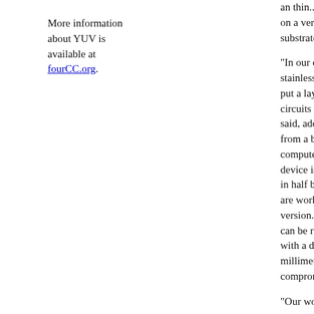More information about YUV is available at fourCC.org.
...on a very thin substrate.
"In our case it... stainless steel... put a layer of circuits on tha... said, adding th... from a busines... computer scre... device is too t... in half but Ch... are working o... version. The c... can be rolled i... with a diamete... millimeters w... compromising...
"Our work de... you can make... electronic circ... and flexible su... Chen.